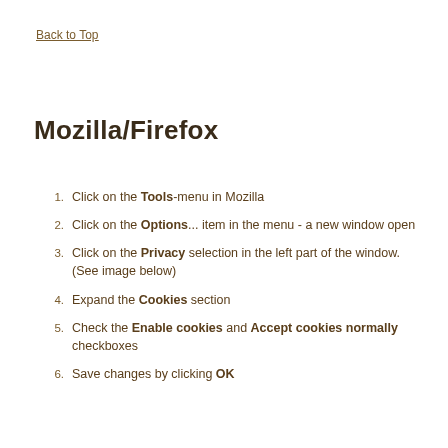Back to Top
Mozilla/Firefox
Click on the Tools-menu in Mozilla
Click on the Options... item in the menu - a new window open
Click on the Privacy selection in the left part of the window. (See image below)
Expand the Cookies section
Check the Enable cookies and Accept cookies normally checkboxes
Save changes by clicking OK